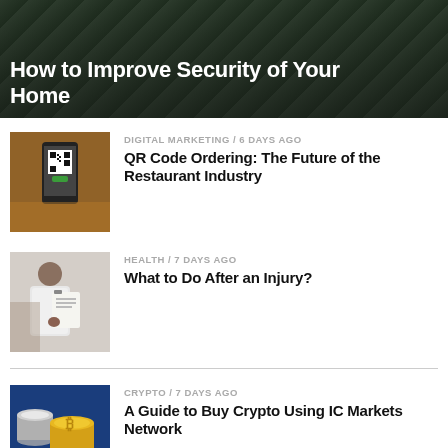How to Improve Security of Your Home
DIGITAL MARKETING / 6 days ago
QR Code Ordering: The Future of the Restaurant Industry
[Figure (photo): Hand holding a smartphone scanning a QR code menu at a restaurant]
HEALTH / 7 days ago
What to Do After an Injury?
[Figure (photo): Person in white coat writing on a clipboard, medical/health context]
CRYPTO / 7 days ago
A Guide to Buy Crypto Using IC Markets Network
[Figure (photo): Bitcoin and other cryptocurrency coins on a blue background]
VIRAL / 1 week ago
Everything You Need to Know About Bjj Finger Tape